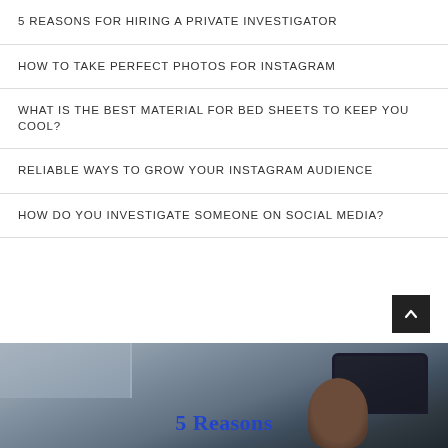5 REASONS FOR HIRING A PRIVATE INVESTIGATOR
HOW TO TAKE PERFECT PHOTOS FOR INSTAGRAM
WHAT IS THE BEST MATERIAL FOR BED SHEETS TO KEEP YOU COOL?
RELIABLE WAYS TO GROW YOUR INSTAGRAM AUDIENCE
HOW DO YOU INVESTIGATE SOMEONE ON SOCIAL MEDIA?
[Figure (photo): Photo strip at the bottom showing a car scene with '5 Reasons' text in blue cursive font, partial view of a vehicle window and a person's head silhouette, building/windows visible in background]